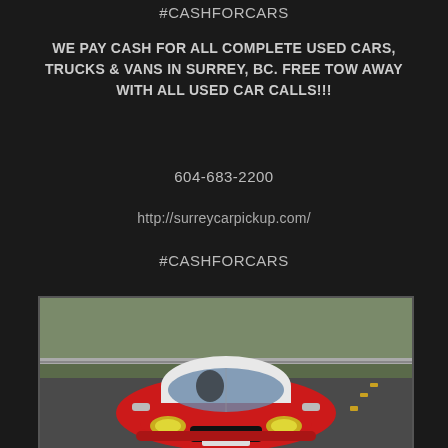#CASHFORCARS
WE PAY CASH FOR ALL COMPLETE USED CARS, TRUCKS & VANS IN SURREY, BC. FREE TOW AWAY WITH ALL USED CAR CALLS!!!
604-683-2200
http://surreycarpickup.com/
#CASHFORCARS
[Figure (photo): A red Smart car driving on a road, photographed from the front, with a guardrail and foliage visible in the background.]